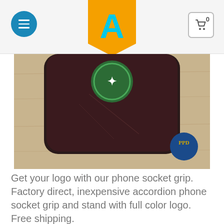Navigation header with menu button, logo (A), and cart button showing 0
[Figure (photo): Close-up photo of back of a dark brown/maroon Samsung smartphone on a wooden surface, showing a green circular logo sticker and a PPD watermark in the lower right corner]
Get your logo with our phone socket grip. Factory direct, inexpensive accordion phone socket grip and stand with full color logo. Free shipping.
[Figure (photo): Photo of the back of a Samsung Galaxy S3 smartphone on a wooden surface, showing the Samsung logo, camera lens and flash. A blue circular chat icon is visible in the lower right.]